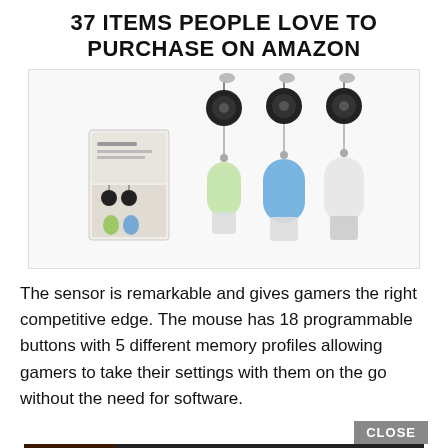37 ITEMS PEOPLE LOVE TO PURCHASE ON AMAZON
[Figure (photo): Product photo showing retractable badge reels with silicone travel bottles in green, blue, and clear, with product packaging box on the left]
The sensor is remarkable and gives gamers the right competitive edge. The mouse has 18 programmable buttons with 5 different memory profiles allowing gamers to take their settings with them on the go without the need for software.
[Figure (screenshot): Advertisement banner for Seamless food delivery showing pizza image on the left, Seamless logo in red, and an ORDER NOW button. A CLOSE button appears in the top right corner of the ad overlay.]
The m... and gold-p... the